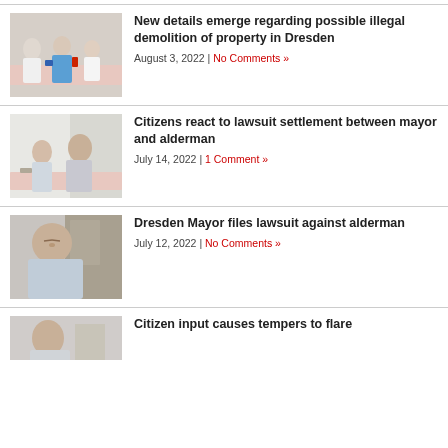[Figure (photo): People seated at a table at a meeting, man in blue shirt visible]
New details emerge regarding possible illegal demolition of property in Dresden
August 3, 2022 | No Comments »
[Figure (photo): Two men seated at a table, one younger and one older, at a meeting]
Citizens react to lawsuit settlement between mayor and alderman
July 14, 2022 | 1 Comment »
[Figure (photo): Man with eyes closed leaning back in a chair at a meeting]
Dresden Mayor files lawsuit against alderman
July 12, 2022 | No Comments »
[Figure (photo): Partial view of person at a meeting, bottom of page]
Citizen input causes tempers to flare